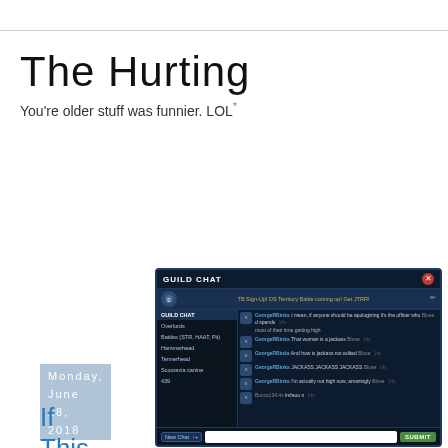The Hurting
You're older stuff was funnier. LOL*
Monday, June 18, 2018
If This Goes On - III
[Figure (screenshot): A game guild chat interface (Star Wars: Galaxy of Heroes style) showing a GUILD CHAT window with multiple chat messages from players named GeorgeRBinks and Bluse, including text like 'I mean, if anyone should be apologizing it’s the officer who spends most of their time getting high', 'That woman is a jackass', 'And how is jackass not edited', 'JACKASS JACKASS JACKASS', 'I’m actually not high now, amazingly', and 'lmfaoo n'. Bottom bar shows New Chat button, text input, and SUBMIT button.]